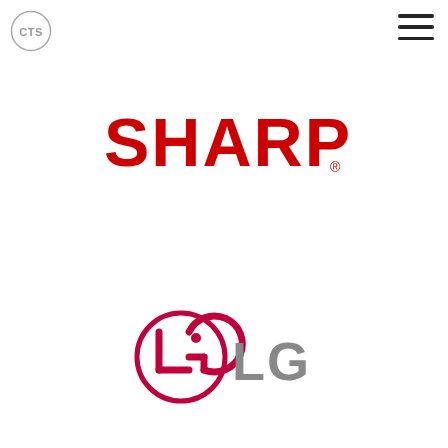[Figure (logo): CTS circular logo with text 'CTS' inside a circle, grey outline]
[Figure (logo): Hamburger menu icon, three horizontal lines, top right corner]
[Figure (logo): SHARP logo in bold red letters with registered trademark symbol]
[Figure (logo): LG logo with pink/magenta circular symbol on the left and grey 'LG' text on the right]